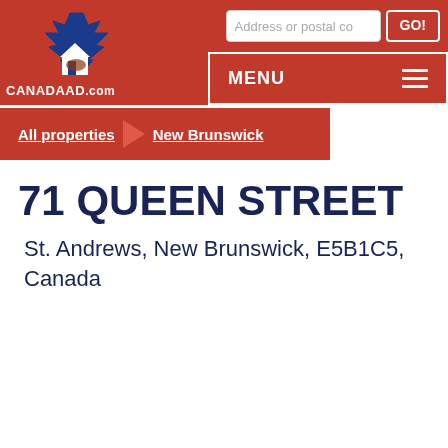[Figure (logo): CanadaAd.com logo with maple leaf and house icon on red background]
Address or postal co  GO!  MENU
All properties  >  New Brunswick
71 QUEEN STREET
St. Andrews, New Brunswick, E5B1C5, Canada